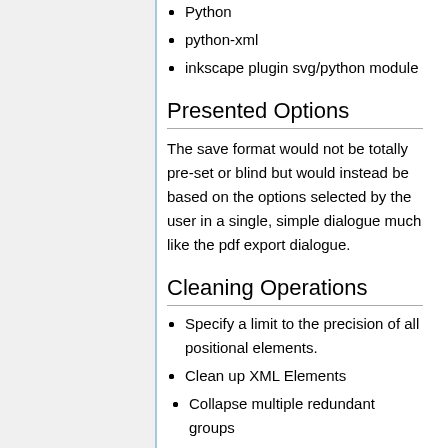Python
python-xml
inkscape plugin svg/python module
Presented Options
The save format would not be totally pre-set or blind but would instead be based on the options selected by the user in a single, simple dialogue much like the pdf export dialogue.
Cleaning Operations
Specify a limit to the precision of all positional elements.
Clean up XML Elements
Collapse multiple redundant groups
Remove empty tags, such as defs or metadata.